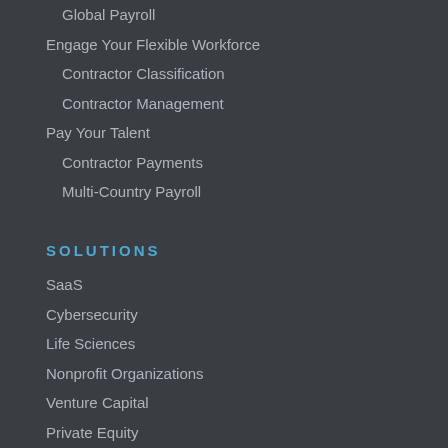Global Payroll
Engage Your Flexible Workforce
Contractor Classification
Contractor Management
Pay Your Talent
Contractor Payments
Multi-Country Payroll
SOLUTIONS
SaaS
Cybersecurity
Life Sciences
Nonprofit Organizations
Venture Capital
Private Equity
Human Resources
Finance
Business Development